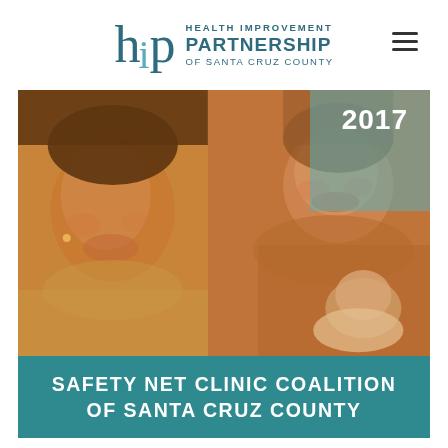[Figure (logo): Health Improvement Partnership of Santa Cruz County (HIP) logo with stylized 'h i p' letters in teal and dark teal, followed by organization name text]
[Figure (photo): Cover page with two photos side by side: left shows a young woman smiling with orange/amber color tint, right shows a smiling woman holding a baby with orange tint and teal overlay in upper portion. Year '2017' displayed in top right of image area.]
SAFETY NET CLINIC COALITION OF SANTA CRUZ COUNTY